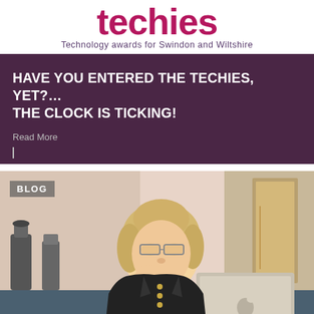Techies — Technology awards for Swindon and Wiltshire
HAVE YOU ENTERED THE TECHIES, YET?... THE CLOCK IS TICKING!
Read More
[Figure (photo): Blog section showing a young blonde woman with glasses sitting at a desk with a laptop and coffee cup, in a cafe or office setting. A BLOG badge is overlaid in the top left corner.]